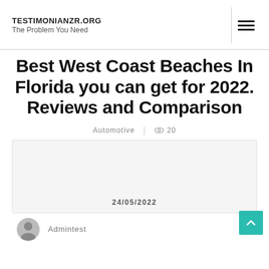TESTIMONIANZR.ORG
The Problem You Need
Best West Coast Beaches In Florida you can get for 2022. Reviews and Comparison
Automotive  |  👁 20
[Figure (other): Article thumbnail image block with date 24/05/2022]
24/05/2022
Admintest